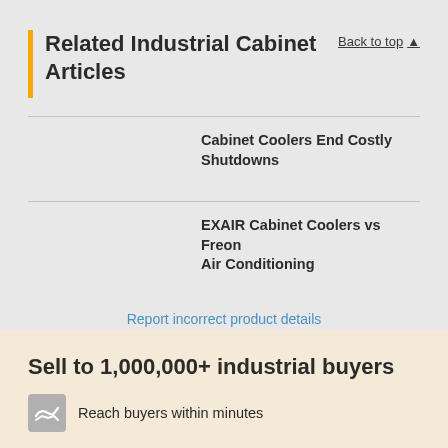Related Industrial Cabinet Articles
Back to top ▲
Cabinet Coolers End Costly Shutdowns
EXAIR Cabinet Coolers vs Freon Air Conditioning
Report incorrect product details
Sell to 1,000,000+ industrial buyers
Reach buyers within minutes